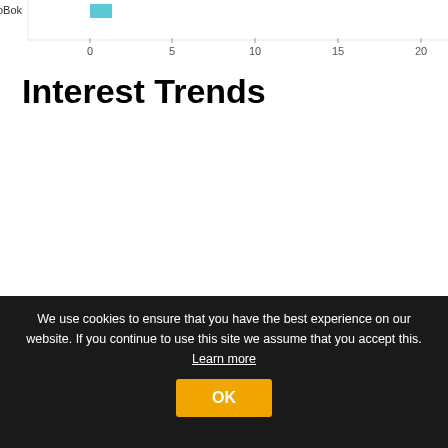[Figure (bar-chart): Partial horizontal bar chart showing 0 to 20 x-axis scale with a small cyan/teal bar near the top row labeled GXoBok. Only the bottom portion of the chart is visible.]
Interest Trends
We use cookies to ensure that you have the best experience on our website. If you continue to use this site we assume that you accept this. Learn more
OK